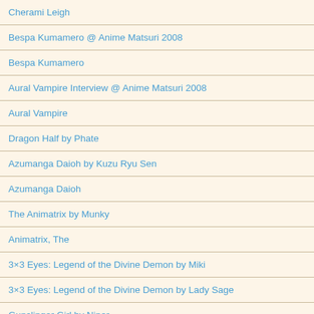| Cherami Leigh |
| Bespa Kumamero @ Anime Matsuri 2008 |
| Bespa Kumamero |
| Aural Vampire Interview @ Anime Matsuri 2008 |
| Aural Vampire |
| Dragon Half by Phate |
| Azumanga Daioh by Kuzu Ryu Sen |
| Azumanga Daioh |
| The Animatrix by Munky |
| Animatrix, The |
| 3×3 Eyes: Legend of the Divine Demon by Miki |
| 3×3 Eyes: Legend of the Divine Demon by Lady Sage |
| Gunslinger Girl by Niner |
| 3×3 Eyes: Legend of the Divine Demon |